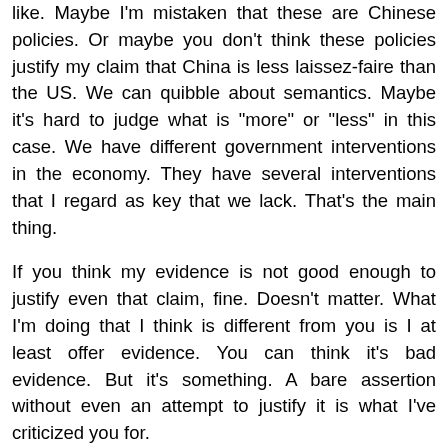like. Maybe I'm mistaken that these are Chinese policies. Or maybe you don't think these policies justify my claim that China is less laissez-faire than the US. We can quibble about semantics. Maybe it's hard to judge what is "more" or "less" in this case. We have different government interventions in the economy. They have several interventions that I regard as key that we lack. That's the main thing.
If you think my evidence is not good enough to justify even that claim, fine. Doesn't matter. What I'm doing that I think is different from you is I at least offer evidence. You can think it's bad evidence. But it's something. A bare assertion without even an attempt to justify it is what I've criticized you for.
Yeah, capitalism has produced giant drops in poverty. In the zones where there has been the heavy hand of government managing it. You can't deny that Latin America has also been capitalist. I think you try to claim they have a lot of government intervention in their economies, but I just find that to be completely the opposite of the evidence. The left wing governments are repeatedly overthrown violently